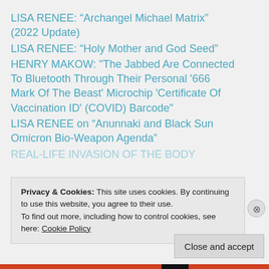LISA RENEE: “Archangel Michael Matrix” (2022 Update)
LISA RENEE: “Holy Mother and God Seed”
HENRY MAKOW: "The Jabbed Are Connected To Bluetooth Through Their Personal '666 Mark Of The Beast' Microchip 'Certificate Of Vaccination ID' (COVID) Barcode"
LISA RENEE on “Anunnaki and Black Sun Omicron Bio-Weapon Agenda”
REAL-LIFE INVASION OF THE BODY
Privacy & Cookies: This site uses cookies. By continuing to use this website, you agree to their use.
To find out more, including how to control cookies, see here: Cookie Policy
Close and accept